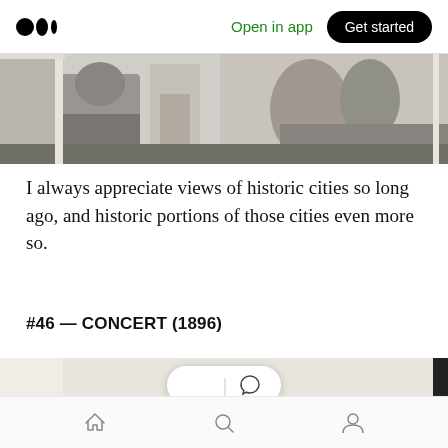Medium logo | Open in app | Get started
[Figure (photo): Black and white historical photograph showing street scene with horse-drawn carriages and vehicles from early 1900s, partially visible at top of page]
I always appreciate views of historic cities so long ago, and historic portions of those cities even more so.
#46 — CONCERT (1896)
[Figure (photo): Black and white historical photograph showing people in concert setting from 1896, partially visible with reaction bubble overlay containing clapping hands and speech bubble icons]
Home | Search | Profile navigation icons